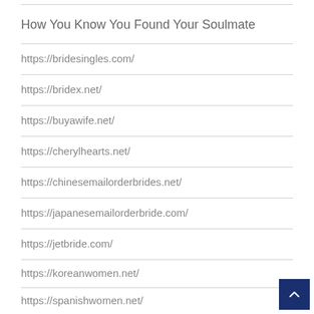How You Know You Found Your Soulmate
https://bridesingles.com/
https://bridex.net/
https://buyawife.net/
https://cherylhearts.net/
https://chinesemailorderbrides.net/
https://japanesemailorderbride.com/
https://jetbride.com/
https://koreanwomen.net/
https://spanishwomen.net/